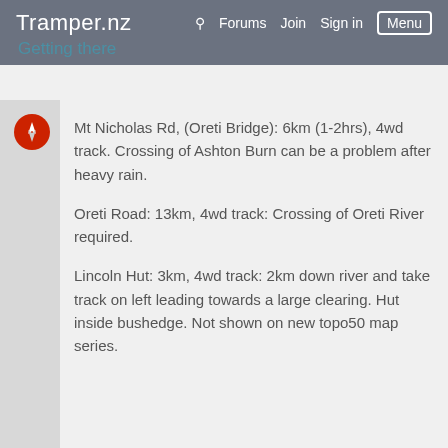Tramper.nz   Forums   Join   Sign in   Menu
Getting there
Mt Nicholas Rd, (Oreti Bridge): 6km (1-2hrs), 4wd track. Crossing of Ashton Burn can be a problem after heavy rain.

Oreti Road: 13km, 4wd track: Crossing of Oreti River required.

Lincoln Hut: 3km, 4wd track: 2km down river and take track on left leading towards a large clearing. Hut inside bushedge. Not shown on new topo50 map series.